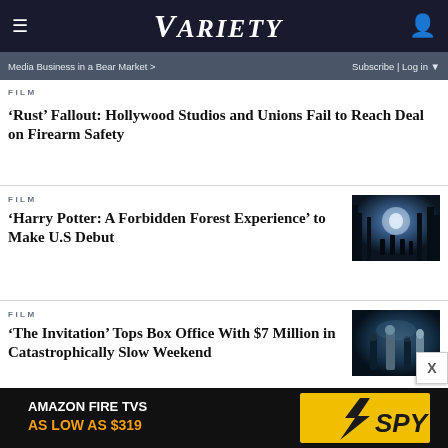VARIETY
Media Business in a Bear Market >   Subscribe | Log in
FILM
'Rust' Fallout: Hollywood Studios and Unions Fail to Reach Deal on Firearm Safety
FILM
'Harry Potter: A Forbidden Forest Experience' to Make U.S Debut
[Figure (photo): Dark forest scene with silhouetted figures and glowing light, Harry Potter themed]
FILM
'The Invitation' Tops Box Office With $7 Million in Catastrophically Slow Weekend
[Figure (photo): Dark blue-toned scene with figures in a dimly lit setting, The Invitation movie]
[Figure (screenshot): Amazon Fire TVs advertisement banner: AMAZON FIRE TVS AS LOW AS $319, SPY logo]